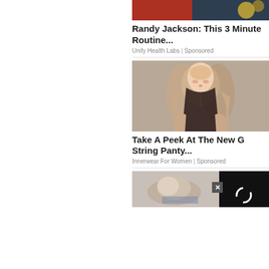[Figure (photo): Partial top image of Randy Jackson advertisement - cropped image showing food and people]
Randy Jackson: This 3 Minute Routine...
Unify Health Labs | Sponsored
[Figure (photo): Young woman with long blonde/brown wavy hair against a gray background - advertisement for G String Panty]
Take A Peek At The New G String Panty...
Innerwear For Women | Sponsored
[Figure (photo): Elderly man sleeping, with a black video overlay with spinner and close button]